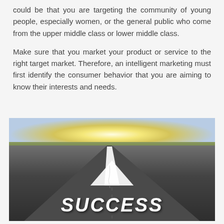could be that you are targeting the community of young people, especially women, or the general public who come from the upper middle class or lower middle class.
Make sure that you market your product or service to the right target market. Therefore, an intelligent marketing must first identify the consumer behavior that you are aiming to know their interests and needs.
[Figure (photo): A road stretching toward the horizon at sunset with a large white arrow painted on the road pointing forward, and the word SUCCESS written in large white italic letters on the road surface in the foreground.]